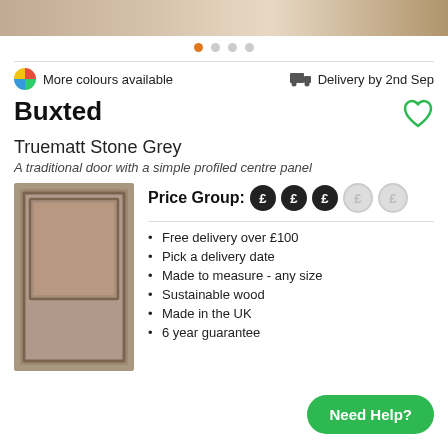[Figure (photo): Top image strip showing a door or room scene, partially cropped]
[Figure (other): Carousel dot navigation: 4 dots, first dot is orange/active, rest are grey]
More colours available
Delivery by 2nd Sep
Buxted
Truematt Stone Grey
A traditional door with a simple profiled centre panel
[Figure (photo): Stone grey cabinet door sample image — Buxted style, Truematt Stone Grey finish]
Price Group: ££££ (3 filled, 2 empty)
Free delivery over £100
Pick a delivery date
Made to measure - any size
Sustainable wood
Made in the UK
6 year guarantee
Need Help?